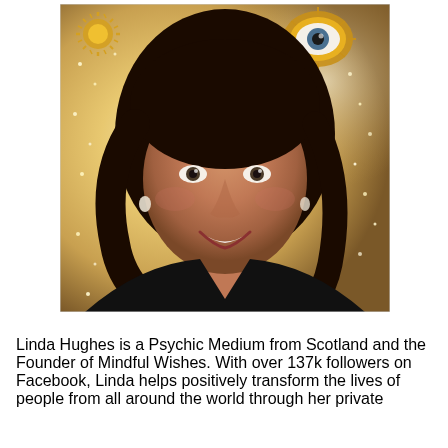[Figure (photo): Portrait photo of Linda Hughes, a woman with dark curly hair smiling, wearing a black top, against a background with fairy lights, a gold sun decoration on the upper left, and a gold eye wall decoration on the upper right.]
Linda Hughes is a Psychic Medium from Scotland and the Founder of Mindful Wishes. With over 137k followers on Facebook, Linda helps positively transform the lives of people from all around the world through her private